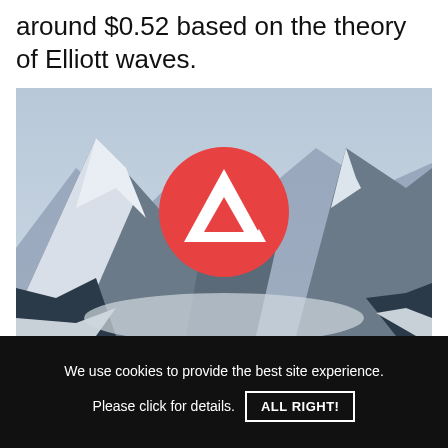around $0.52 based on the theory of Elliott waves.
[Figure (photo): Snowy mountain range with Avalanche (AVAX) cryptocurrency logo overlaid in center — a red circle containing a white stylized 'A' mountain logo.]
We use cookies to provide the best site experience. Please click for details. ALL RIGHT!